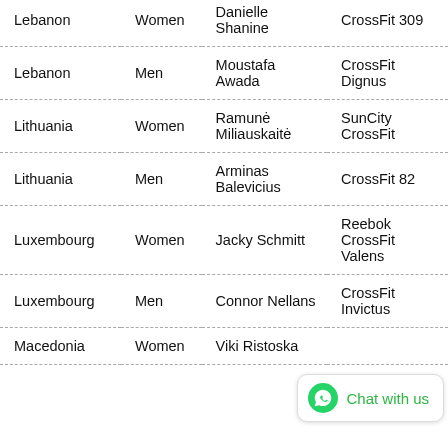| Lebanon | Women | Danielle Shanine | CrossFit 309 |
| Lebanon | Men | Moustafa Awada | CrossFit Dignus |
| Lithuania | Women | Ramunė Miliauskaitė | SunCity CrossFit |
| Lithuania | Men | Arminas Balevicius | CrossFit 82 |
| Luxembourg | Women | Jacky Schmitt | Reebok CrossFit Valens |
| Luxembourg | Men | Connor Nellans | CrossFit Invictus |
| Macedonia | Women | Viki Ristoska |  |